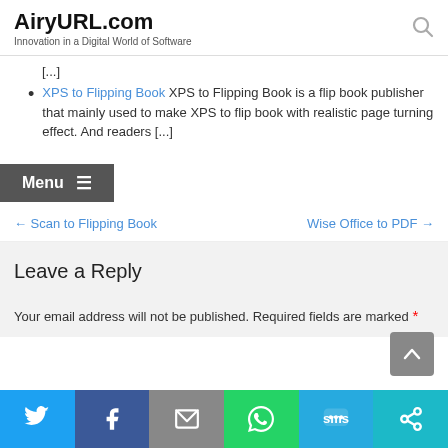AiryURL.com — Innovation in a Digital World of Software
[...]
XPS to Flipping Book XPS to Flipping Book is a flip book publisher that mainly used to make XPS to flip book with realistic page turning effect. And readers [...]
Menu
← Scan to Flipping Book    Wise Office to PDF →
Leave a Reply
Your email address will not be published. Required fields are marked *